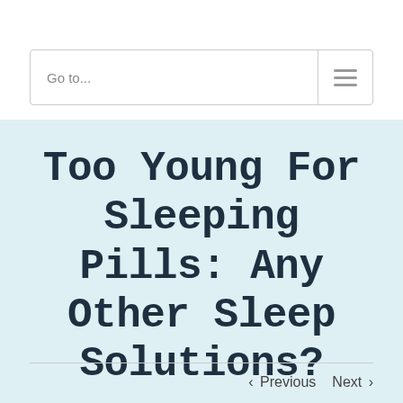Go to...
Too Young For Sleeping Pills: Any Other Sleep Solutions?
< Previous   Next >